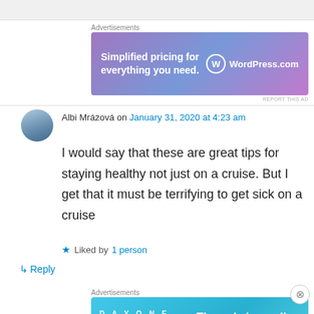[Figure (screenshot): Top bar / partial previous content area]
Advertisements
[Figure (illustration): WordPress.com advertisement banner: 'Simplified pricing for everything you need.' with WordPress.com logo on gradient purple/blue background]
Albi Mrázová on January 31, 2020 at 4:23 am
I would say that these are great tips for staying healthy not just on a cruise. But I get that it must be terrifying to get sick on a cruise
★ Liked by 1 person
↳ Reply
Advertisements
[Figure (illustration): DAY ONE journaling app advertisement: 'The only journaling app you'll ever need.' on light blue background with app icons]